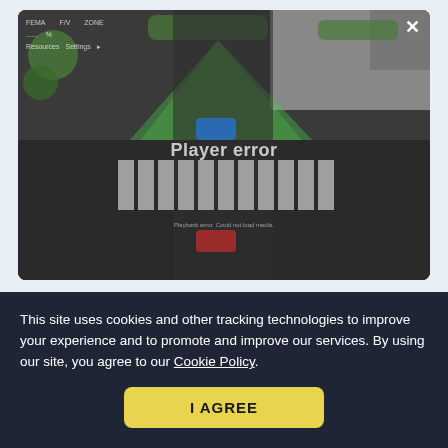[Figure (screenshot): Video player screenshot showing an aerial/top-down view of a street intersection with a green sensor field-of-view overlay, a blue car in the intersection, a red car below, and crosswalk markings. The player displays a 'Player error' message overlaid on the scene. A close (X) button appears in the top-right corner of the player.]
Sensor geometries and
This site uses cookies and other tracking technologies to improve your experience and to promote and improve our services. By using our site, you agree to our Cookie Policy.